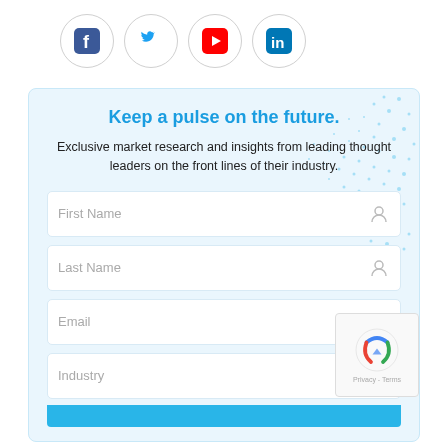[Figure (illustration): Row of four social media icons in circular borders: Facebook (blue), Twitter (blue bird), YouTube (red play button), LinkedIn (blue in square)]
Keep a pulse on the future.
Exclusive market research and insights from leading thought leaders on the front lines of their industry.
First Name
Last Name
Email
Industry